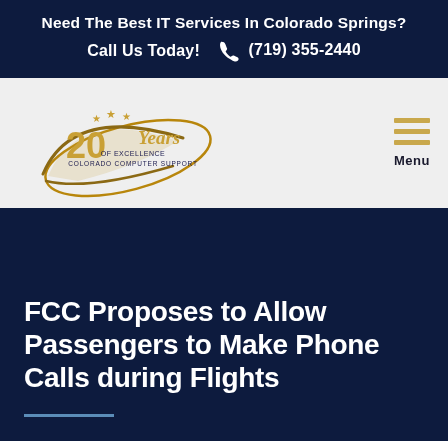Need The Best IT Services In Colorado Springs? Call Us Today! (719) 355-2440
[Figure (logo): Colorado Computer Support 20 Years of Excellence logo with gold and dark blue styling]
Menu
FCC Proposes to Allow Passengers to Make Phone Calls during Flights